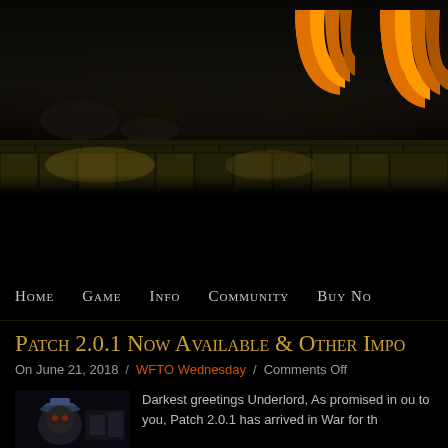[Figure (screenshot): Game website header banner showing a dark dungeon scene with stone floors and walls. Orange and yellow glowing arch logo visible in the upper right. Dark brown/black moody atmosphere.]
Home  Game  Info  Community  Buy Now
Patch 2.0.1 Now Available & Other Impo
On June 21, 2018 / WFTO Wednesday / Comments Off
[Figure (photo): Thumbnail image showing a game character wearing a blue cap in a dark dungeon environment]
Darkest greetings Underlord, As promised in ou to you, Patch 2.0.1 has arrived in War for th